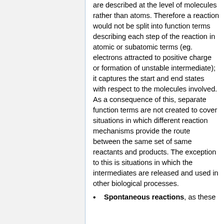are described at the level of molecules rather than atoms. Therefore a reaction would not be split into function terms describing each step of the reaction in atomic or subatomic terms (eg. electrons attracted to positive charge or formation of unstable intermediate); it captures the start and end states with respect to the molecules involved. As a consequence of this, separate function terms are not created to cover situations in which different reaction mechanisms provide the route between the same set of same reactants and products. The exception to this is situations in which the intermediates are released and used in other biological processes.
Spontaneous reactions, as these